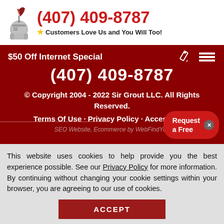[Figure (logo): Sir Grout knight logo with quill pen]
(407) 409-8787
Customers Love Us and You Will Too!
$50 Off Internet Special
(407) 409-8787
© Copyright 2004 - 2022 Sir Grout LLC. All Rights Reserved.
Terms Of Use · Privacy Policy · Accessibility
SEO Website, Ecommerce by WebFindYou
Request a Free
This website uses cookies to help provide you the best experience possible. See our Privacy Policy for more information. By continuing without changing your cookie settings within your browser, you are agreeing to our use of cookies.
ACCEPT